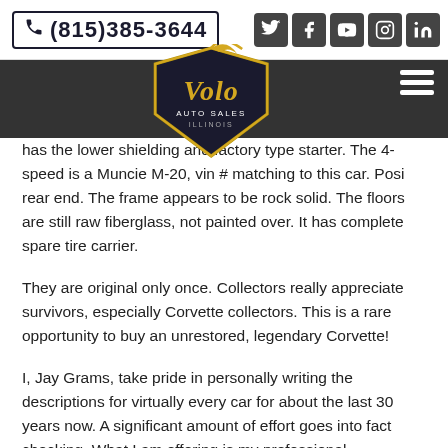(815)385-3644
[Figure (logo): Volo Auto Sales Illinois logo — gold script lettering on a dark shield shape]
has the lower shielding and factory type starter. The 4-speed is a Muncie M-20, vin # matching to this car. Posi rear end. The frame appears to be rock solid. The floors are still raw fiberglass, not painted over. It has complete spare tire carrier.
They are original only once. Collectors really appreciate survivors, especially Corvette collectors. This is a rare opportunity to buy an unrestored, legendary Corvette!
I, Jay Grams, take pride in personally writing the descriptions for virtually every car for about the last 30 years now. A significant amount of effort goes into fact checking. What I am offering is my professional